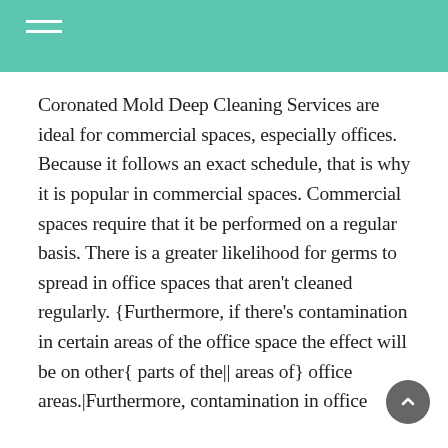Coronated Mold Deep Cleaning Services are ideal for commercial spaces, especially offices. Because it follows an exact schedule, that is why it is popular in commercial spaces. Commercial spaces require that it be performed on a regular basis. There is a greater likelihood for germs to spread in office spaces that aren’t cleaned regularly. {Furthermore, if there’s contamination in certain areas of the office space the effect will be on other{ parts of the|| areas of} office areas.|Furthermore, contamination in office